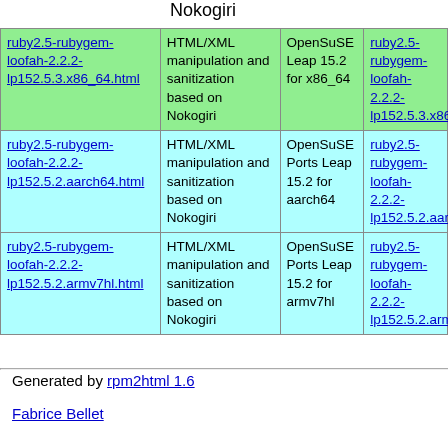|  | Nokogiri |  |  |
| --- | --- | --- | --- |
| ruby2.5-rubygem-loofah-2.2.2-lp152.5.3.x86_64.html | HTML/XML manipulation and sanitization based on Nokogiri | OpenSuSE Leap 15.2 for x86_64 | ruby2.5-rubygem-loofah-2.2.2-lp152.5.3.x86_64 |
| ruby2.5-rubygem-loofah-2.2.2-lp152.5.2.aarch64.html | HTML/XML manipulation and sanitization based on Nokogiri | OpenSuSE Ports Leap 15.2 for aarch64 | ruby2.5-rubygem-loofah-2.2.2-lp152.5.2.aarch64 |
| ruby2.5-rubygem-loofah-2.2.2-lp152.5.2.armv7hl.html | HTML/XML manipulation and sanitization based on Nokogiri | OpenSuSE Ports Leap 15.2 for armv7hl | ruby2.5-rubygem-loofah-2.2.2-lp152.5.2.armv7h |
Generated by rpm2html 1.6
Fabrice Bellet